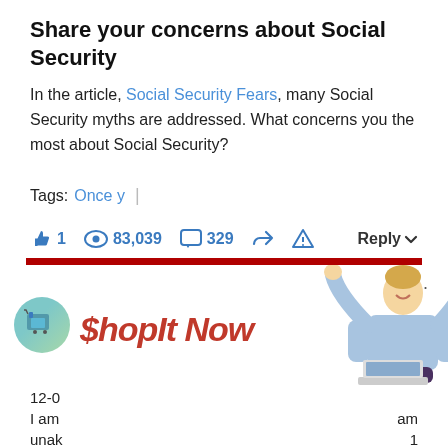Share your concerns about Social Security
In the article, Social Security Fears, many Social Security myths are addressed. What concerns you the most about Social Security?
Tags: Once y |
👍 1   👁 83,039   💬 329   ↗   ⚠   Reply ▾
[Figure (screenshot): Advertisement banner for '$hopIt Now' showing a woman with raised fists celebrating in front of a laptop]
12-0
I am                                                                             am unak                                                                            1